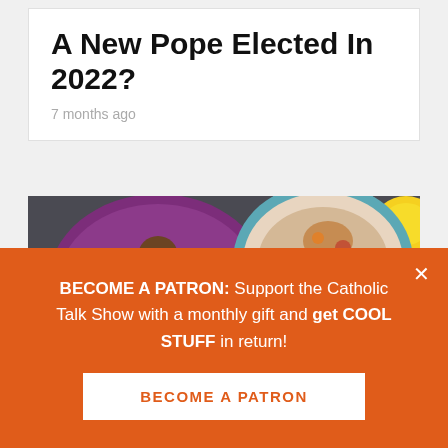A New Pope Elected In 2022?
7 months ago
[Figure (photo): Overhead view of Middle Eastern food spread: bowls with falafel in purple bowl, hummus in blue bowl, tabbouleh with lemon slices in patterned bowl, flatbread, and lemons on dark surface]
BECOME A PATRON: Support the Catholic Talk Show with a monthly gift and get COOL STUFF in return!
BECOME A PATRON